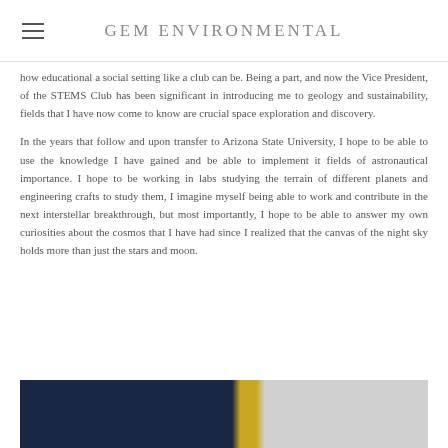GEM ENVIRONMENTAL
how educational a social setting like a club can be. Being a part, and now the Vice President, of the STEMS Club has been significant in introducing me to geology and sustainability, fields that I have now come to know are crucial space exploration and discovery.
In the years that follow and upon transfer to Arizona State University, I hope to be able to use the knowledge I have gained and be able to implement it fields of astronautical importance. I hope to be working in labs studying the terrain of different planets and engineering crafts to study them, I imagine myself being able to work and contribute in the next interstellar breakthrough, but most importantly, I hope to be able to answer my own curiosities about the cosmos that I have had since I realized that the canvas of the night sky holds more than just the stars and moon.
[Figure (photo): Bottom portion of a photo showing what appears to be a person in a dark navy jacket or gown with a yellow/gold stripe or sash, against a light gray background.]